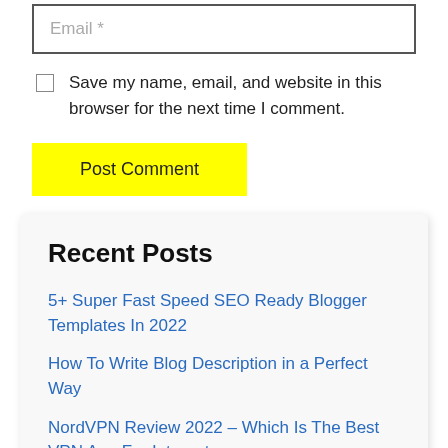Email *
Save my name, email, and website in this browser for the next time I comment.
Post Comment
Recent Posts
5+ Super Fast Speed SEO Ready Blogger Templates In 2022
How To Write Blog Description in a Perfect Way
NordVPN Review 2022 – Which Is The Best VPN App For Internet